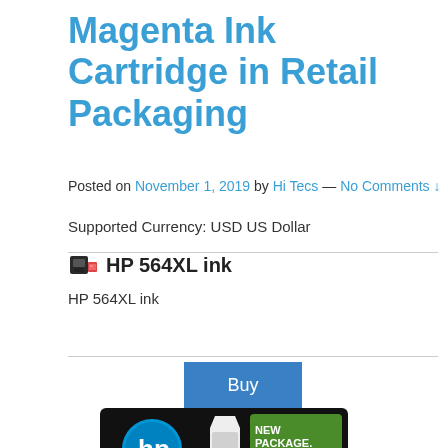Magenta Ink Cartridge in Retail Packaging
Posted on November 1, 2019 by Hi Tecs — No Comments ↓
Supported Currency: USD US Dollar
HP 564XL ink
HP 564XL ink
[Figure (photo): HP ink cartridge product photo in retail packaging showing black box with HP logo, white cartridge shape, and green 'NEW PACKAGE. Same Brilliant HP Inks.' label]